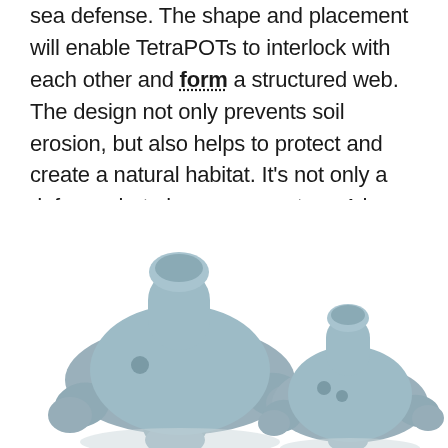sea defense. The shape and placement will enable TetraPOTs to interlock with each other and form a structured web. The design not only prevents soil erosion, but also helps to protect and create a natural habitat. It's not only a defense, but also an ecosystem. A home for other livings.
[Figure (photo): Two grey TetraPOT objects side by side on a white background. They are tetrapod-like structures with a cylindrical neck on top and rounded legs extending outward, with small circular holes on their bodies. The left one is larger than the right one.]